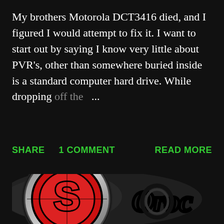My brothers Motorola DCT3416 died, and I figured I would attempt to fix it. I want to start out by saying I know very little about PVR's, other than somewhere buried inside is a standard computer hard drive. While dropping off the ...
SHARE   1 COMMENT   READ MORE
[Figure (logo): A stylized logo featuring a large red circular emblem with a bold letter S in the center, surrounded by a black outline and metallic grey distortion effects. To the right, cursive-style black outlined text partially visible against a dark background.]